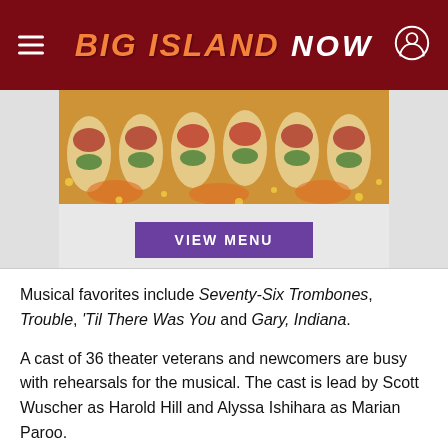Big Island Now
[Figure (photo): Food advertisement photo showing rows of sushi/seafood appetizers with red sauce and green garnish on a golden background, with a purple VIEW MENU button below]
Musical favorites include Seventy-Six Trombones, Trouble, 'Til There Was You and Gary, Indiana.
A cast of 36 theater veterans and newcomers are busy with rehearsals for the musical. The cast is lead by Scott Wuscher as Harold Hill and Alyssa Ishihara as Marian Paroo.
Stephon Bond plays Marcollus, Harold's old fri…